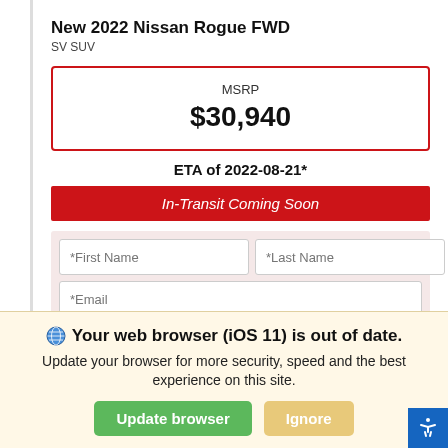New 2022 Nissan Rogue FWD
SV SUV
| MSRP | $30,940 |
ETA of 2022-08-21*
In-Transit Coming Soon
*First Name | *Last Name | *Email | Phone | Contact Dealer
Estimate Payments
Your web browser (iOS 11) is out of date. Update your browser for more security, speed and the best experience on this site.
Update browser | Ignore